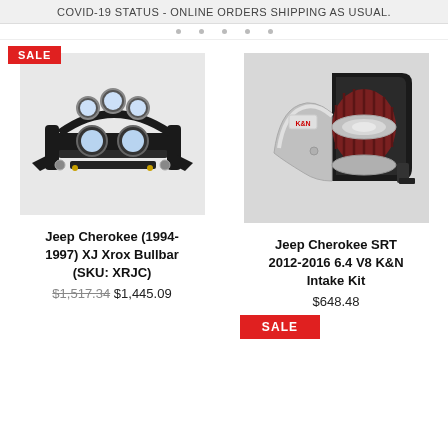COVID-19 STATUS - ONLINE ORDERS SHIPPING AS USUAL.
SALE
[Figure (photo): Jeep Cherokee XJ Xrox Bullbar - black steel front bumper bar with round driving lights]
Jeep Cherokee (1994-1997) XJ Xrox Bullbar (SKU: XRJC)
$1,517.34 $1,445.09
[Figure (photo): K&N cold air intake kit with chrome pipe and red air filter in black airbox]
Jeep Cherokee SRT 2012-2016 6.4 V8 K&N Intake Kit
$648.48
SALE